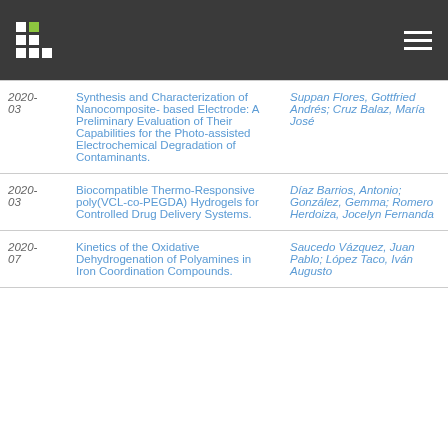Header bar with logo and navigation
| Date | Title | Author(s) |
| --- | --- | --- |
| 2020-03 | Synthesis and Characterization of Nanocomposite- based Electrode: A Preliminary Evaluation of Their Capabilities for the Photo-assisted Electrochemical Degradation of Contaminants. | Suppan Flores, Gottfried Andrés; Cruz Balaz, María José |
| 2020-03 | Biocompatible Thermo-Responsive poly(VCL-co-PEGDA) Hydrogels for Controlled Drug Delivery Systems. | Díaz Barrios, Antonio; González, Gemma; Romero Herdoiza, Jocelyn Fernanda |
| 2020-07 | Kinetics of the Oxidative Dehydrogenation of Polyamines in Iron Coordination Compounds. | Saucedo Vázquez, Juan Pablo; López Taco, Iván Augusto |
| ... | ... | ... |